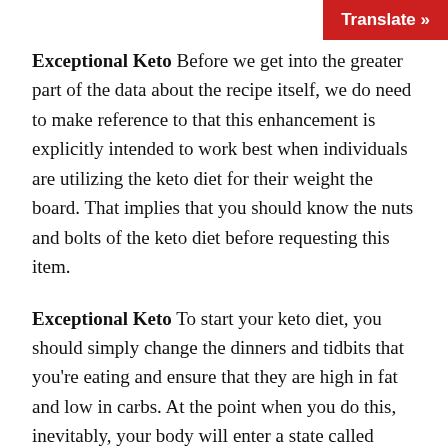Translate »
Exceptional Keto Before we get into the greater part of the data about the recipe itself, we do need to make reference to that this enhancement is explicitly intended to work best when individuals are utilizing the keto diet for their weight the board. That implies that you should know the nuts and bolts of the keto diet before requesting this item.
Exceptional Keto To start your keto diet, you should simply change the dinners and tidbits that you're eating and ensure that they are high in fat and low in carbs. At the point when you do this, inevitably, your body will enter a state called ketosis. In ketosis, your body will start processing put away fat stores in your body for vitality. This enhancement makes a point to get your body into ketosis rapidly and see better outcome once you are there.